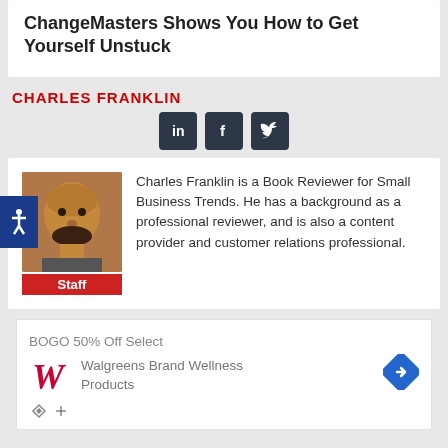ChangeMasters Shows You How to Get Yourself Unstuck
CHARLES FRANKLIN
[Figure (illustration): Three social media icons: LinkedIn (in), Facebook (f), Twitter (bird) in dark square buttons]
[Figure (photo): Headshot photo of Charles Franklin with Staff badge below]
Charles Franklin is a Book Reviewer for Small Business Trends. He has a background as a professional reviewer, and is also a content provider and customer relations professional.
[Figure (illustration): Walgreens advertisement: BOGO 50% Off Select Walgreens Brand Wellness Products with Walgreens logo and navigation arrow icon]